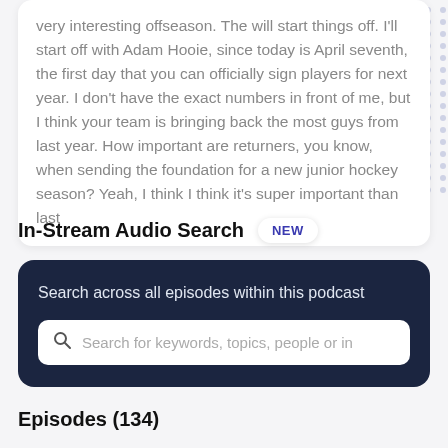very interesting offseason. The will start things off. I'll start off with Adam Hooie, since today is April seventh, the first day that you can officially sign players for next year. I don't have the exact numbers in front of me, but I think your team is bringing back the most guys from last year. How important are returners, you know, when sending the foundation for a new junior hockey season? Yeah, I think I think it's super important than last
In-Stream Audio Search NEW
[Figure (screenshot): Dark navy search box with text 'Search across all episodes within this podcast' and a search input field with placeholder 'Search for keywords, topics, people or in']
Episodes (134)